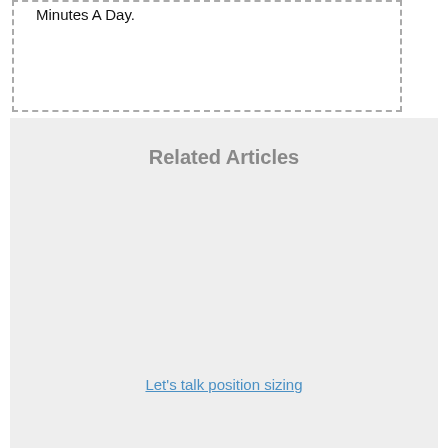Minutes A Day.
Related Articles
Let's talk position sizing